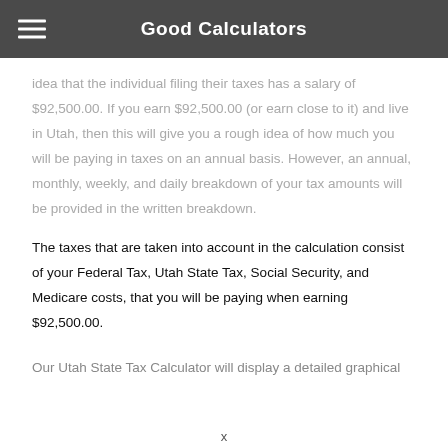Good Calculators
idea that the individual filing their taxes has a salary of $92,500.00. If you earn $92,500.00 (or earn close to it) and live in Utah, then this will give you a rough idea of how much you will be paying in taxes on an annual basis. However, an annual, monthly, weekly, and daily breakdown of your tax amounts will be provided in the written breakdown.
The taxes that are taken into account in the calculation consist of your Federal Tax, Utah State Tax, Social Security, and Medicare costs, that you will be paying when earning $92,500.00.
Our Utah State Tax Calculator will display a detailed graphical